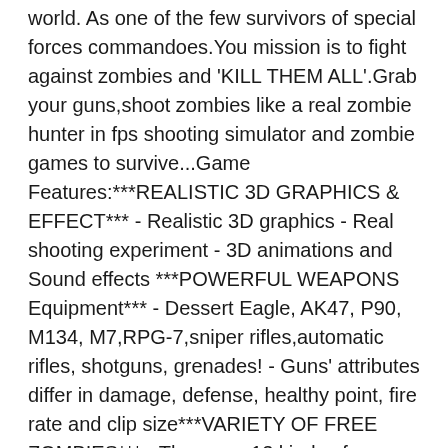world. As one of the few survivors of special forces commandoes.You mission is to fight against zombies and 'KILL THEM ALL'.Grab your guns,shoot zombies like a real zombie hunter in fps shooting simulator and zombie games to survive...Game Features:***REALISTIC 3D GRAPHICS & EFFECT*** - Realistic 3D graphics - Real shooting experiment - 3D animations and Sound effects ***POWERFUL WEAPONS Equipment*** - Dessert Eagle, AK47, P90, M134, M7,RPG-7,sniper rifles,automatic rifles, shotguns, grenades! - Guns' attributes differ in damage, defense, healthy point, fire rate and clip size***VARIETY OF FREE ZOMBIES*** - There are 13 kinds of zombies for you with attributes differ in damage,weapon & health. - Zombie Bosses give you new battle experiment.***ADDICTIVE GAMEPLAY*** - Offline Game: play it anytime and anywhere. - Unlock different exciting survival Maps. - Exciting BOSS challenge - Tablets supported - Challenge your friends to beat your high scoresIt would be a best free zombie